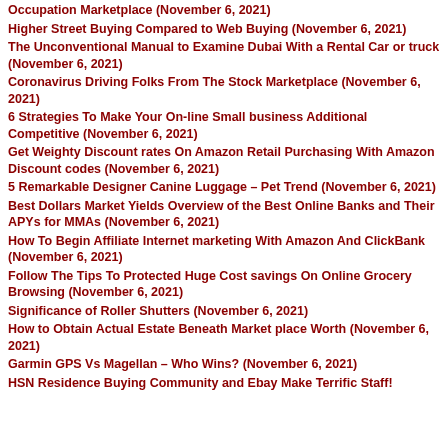Occupation Marketplace (November 6, 2021)
Higher Street Buying Compared to Web Buying (November 6, 2021)
The Unconventional Manual to Examine Dubai With a Rental Car or truck (November 6, 2021)
Coronavirus Driving Folks From The Stock Marketplace (November 6, 2021)
6 Strategies To Make Your On-line Small business Additional Competitive (November 6, 2021)
Get Weighty Discount rates On Amazon Retail Purchasing With Amazon Discount codes (November 6, 2021)
5 Remarkable Designer Canine Luggage – Pet Trend (November 6, 2021)
Best Dollars Market Yields Overview of the Best Online Banks and Their APYs for MMAs (November 6, 2021)
How To Begin Affiliate Internet marketing With Amazon And ClickBank (November 6, 2021)
Follow The Tips To Protected Huge Cost savings On Online Grocery Browsing (November 6, 2021)
Significance of Roller Shutters (November 6, 2021)
How to Obtain Actual Estate Beneath Market place Worth (November 6, 2021)
Garmin GPS Vs Magellan – Who Wins? (November 6, 2021)
HSN Residence Buying Community and Ebay Make Terrific Staff!